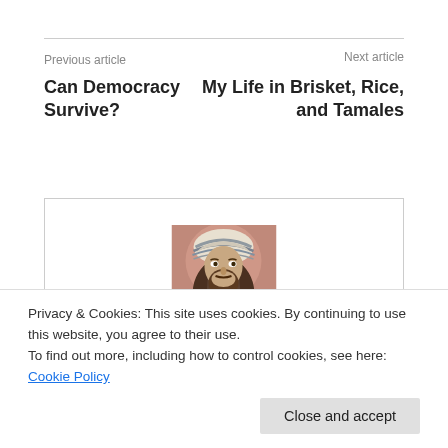Previous article
Next article
Can Democracy Survive?
My Life in Brisket, Rice, and Tamales
[Figure (photo): Portrait illustration of a bearded man wearing a white turban and robe, with a warm reddish-brown background.]
Privacy & Cookies: This site uses cookies. By continuing to use this website, you agree to their use.
To find out more, including how to control cookies, see here: Cookie Policy
Close and accept